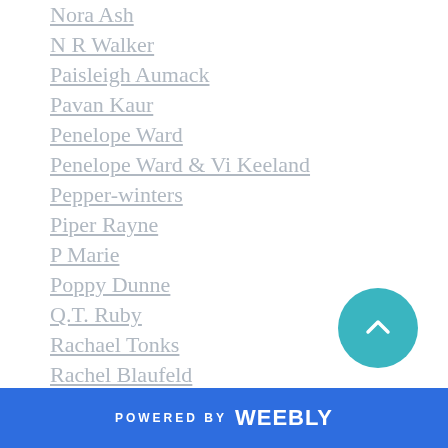Nora Ash
N R Walker
Paisleigh Aumack
Pavan Kaur
Penelope Ward
Penelope Ward & Vi Keeland
Pepper-winters
Piper Rayne
P Marie
Poppy Dunne
Q.T. Ruby
Rachael Tonks
Rachel Blaufeld
Rachel-robinson
Raine Miller
Randi Perrin
R B Hilliard
R C Williams
POWERED BY weebly